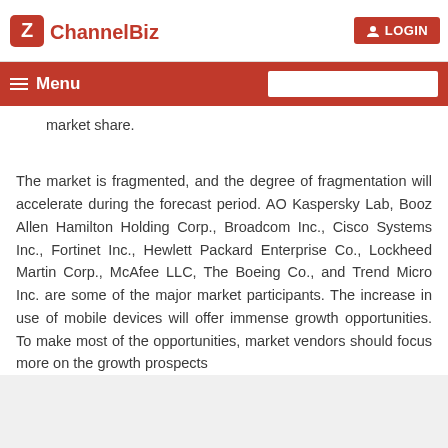ChannelBiz | LOGIN
market share.
The market is fragmented, and the degree of fragmentation will accelerate during the forecast period. AO Kaspersky Lab, Booz Allen Hamilton Holding Corp., Broadcom Inc., Cisco Systems Inc., Fortinet Inc., Hewlett Packard Enterprise Co., Lockheed Martin Corp., McAfee LLC, The Boeing Co., and Trend Micro Inc. are some of the major market participants. The increase in use of mobile devices will offer immense growth opportunities. To make most of the opportunities, market vendors should focus more on the growth prospects